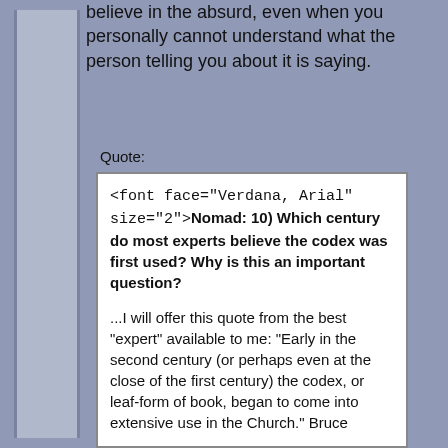believe in the absurd, even when you personally cannot understand what the person telling you about it is saying.
Quote:
<font face="Verdana, Arial" size="2">Nomad: 10) Which century do most experts believe the codex was first used? Why is this an important question?

...I will offer this quote from the best "expert" available to me: "Early in the second century (or perhaps even at the close of the first century) the codex, or leaf-form of book, began to come into extensive use in the Church." Bruce